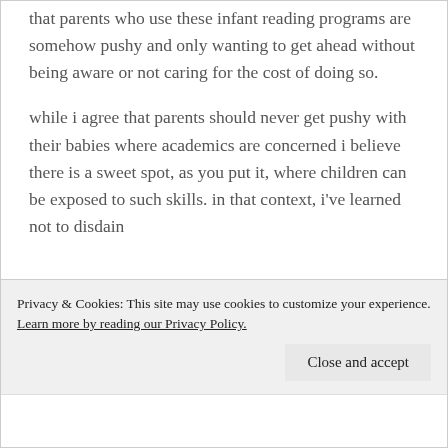that parents who use these infant reading programs are somehow pushy and only wanting to get ahead without being aware or not caring for the cost of doing so.
while i agree that parents should never get pushy with their babies where academics are concerned i believe there is a sweet spot, as you put it, where children can be exposed to such skills. in that context, i've learned not to disdain
Privacy & Cookies: This site may use cookies to customize your experience. Learn more by reading our Privacy Policy.